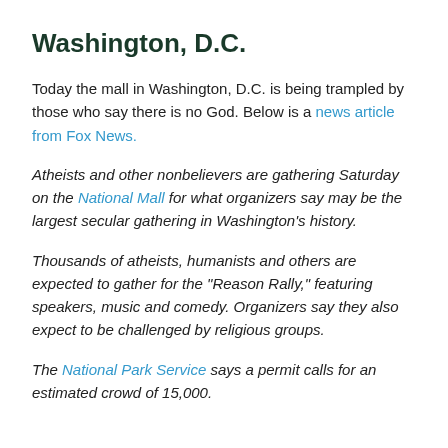Washington, D.C.
Today the mall in Washington, D.C. is being trampled by those who say there is no God. Below is a news article from Fox News.
Atheists and other nonbelievers are gathering Saturday on the National Mall for what organizers say may be the largest secular gathering in Washington’s history.
Thousands of atheists, humanists and others are expected to gather for the “Reason Rally,” featuring speakers, music and comedy. Organizers say they also expect to be challenged by religious groups.
The National Park Service says a permit calls for an estimated crowd of 15,000.